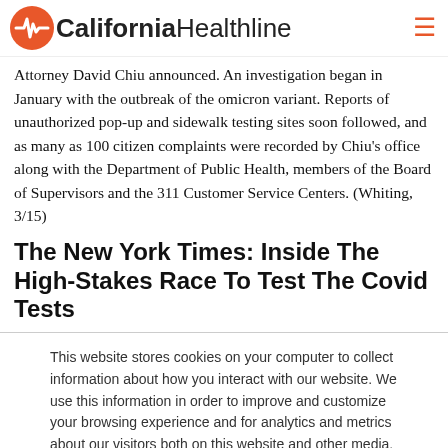California Healthline
Attorney David Chiu announced. An investigation began in January with the outbreak of the omicron variant. Reports of unauthorized pop-up and sidewalk testing sites soon followed, and as many as 100 citizen complaints were recorded by Chiu's office along with the Department of Public Health, members of the Board of Supervisors and the 311 Customer Service Centers. (Whiting, 3/15)
The New York Times: Inside The High-Stakes Race To Test The Covid Tests
This website stores cookies on your computer to collect information about how you interact with our website. We use this information in order to improve and customize your browsing experience and for analytics and metrics about our visitors both on this website and other media. To find out more about the cookies we use, see our Privacy Policy.
Accept